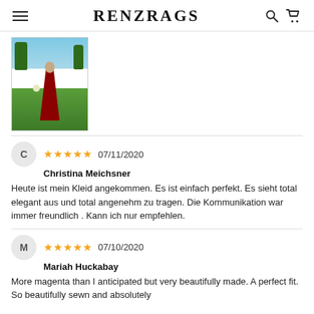RENZRAGS
[Figure (photo): Person wearing a dark red/maroon ball gown standing outdoors in a garden or cemetery setting with trees and green grass]
C
★★★★★ 07/11/2020
Christina Meichsner
Heute ist mein Kleid angekommen. Es ist einfach perfekt. Es sieht total elegant aus und total angenehm zu tragen. Die Kommunikation war immer freundlich . Kann ich nur empfehlen.
M
★★★★★ 07/10/2020
Mariah Huckabay
More magenta than I anticipated but very beautifully made. A perfect fit. So beautifully sewn and absolutely...